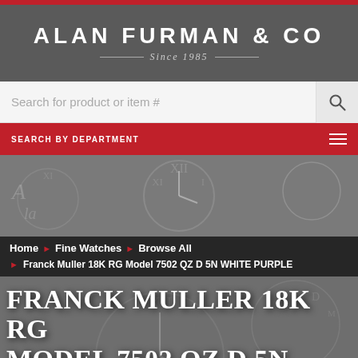ALAN FURMAN & CO — Since 1985
Search for product or item #
SEARCH BY DEPARTMENT
[Figure (photo): Dark background with antique clock faces showing Roman numerals]
Home › Fine Watches › Browse All › Franck Muller 18K RG Model 7502 QZ D 5N WHITE PURPLE
FRANCK MULLER 18K RG MODEL 7502 QZ D 5N WHITE PURPLE ALA...